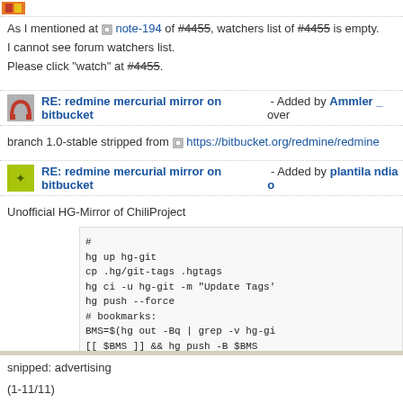As I mentioned at note-194 of #4455, watchers list of #4455 is empty.
I cannot see forum watchers list.
Please click "watch" at #4455.
RE: redmine mercurial mirror on bitbucket - Added by Ammler _ over
branch 1.0-stable stripped from https://bitbucket.org/redmine/redmine
RE: redmine mercurial mirror on bitbucket - Added by plantila ndia o
Unofficial HG-Mirror of ChiliProject
[Figure (screenshot): Code block with mercurial/git commands including: #, hg up hg-git, cp .hg/git-tags .hgtags, hg ci -u hg-git -m "Update Tags", hg push --force, # bookmarks:, BMS=$(hg out -Bq | grep -v hg-gi, [[ $BMS ]] && hg push -B $BMS]
snipped: advertising
(1-11/11)